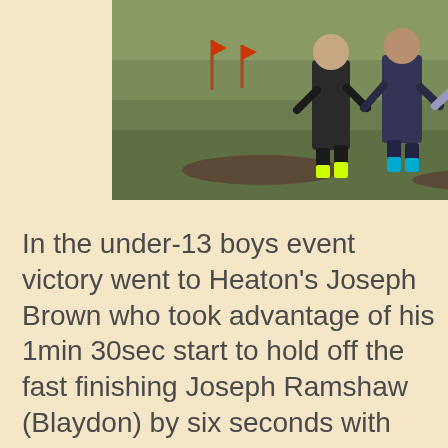[Figure (photo): Runners in a cross-country race on a grassy field, wearing athletic gear with colourful socks. Photo credit: stuartwhitman]
In the under-13 boys event victory went to Heaton's Joseph Brown who took advantage of his 1min 30sec start to hold off the fast finishing Joseph Ramshaw (Blaydon) by six seconds with Birtley's Noah Williamson, also running from the fast pack, coming through to take third place. Ramshaw led Blaydon to team victory on the day and also to take the overall team title with North Shields Poly in second place three points adrift and Durham City finishing in third spot. Williamson came out on top to take the Individual Grand Prix award